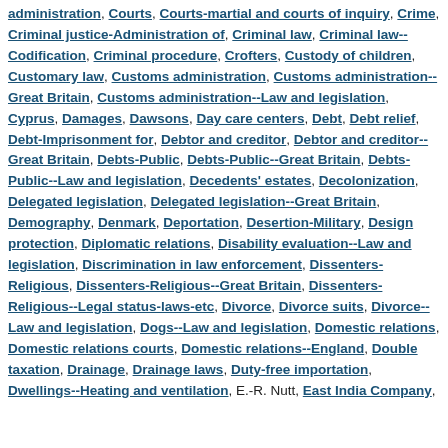administration, Courts, Courts-martial and courts of inquiry, Crime, Criminal justice-Administration of, Criminal law, Criminal law--Codification, Criminal procedure, Crofters, Custody of children, Customary law, Customs administration, Customs administration--Great Britain, Customs administration--Law and legislation, Cyprus, Damages, Dawsons, Day care centers, Debt, Debt relief, Debt-Imprisonment for, Debtor and creditor, Debtor and creditor--Great Britain, Debts-Public, Debts-Public--Great Britain, Debts-Public--Law and legislation, Decedents' estates, Decolonization, Delegated legislation, Delegated legislation--Great Britain, Demography, Denmark, Deportation, Desertion-Military, Design protection, Diplomatic relations, Disability evaluation--Law and legislation, Discrimination in law enforcement, Dissenters-Religious, Dissenters-Religious--Great Britain, Dissenters-Religious--Legal status-laws-etc, Divorce, Divorce suits, Divorce--Law and legislation, Dogs--Law and legislation, Domestic relations, Domestic relations courts, Domestic relations--England, Double taxation, Drainage, Drainage laws, Duty-free importation, Dwellings--Heating and ventilation, E.-R. Nutt, East India Company,